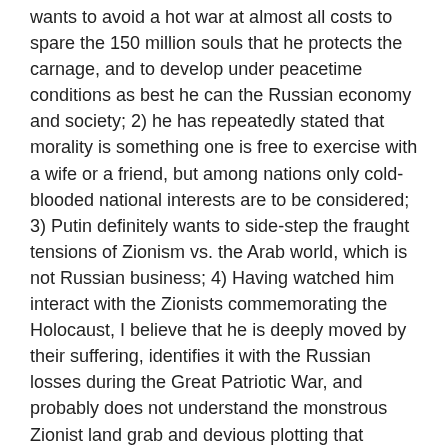wants to avoid a hot war at almost all costs to spare the 150 million souls that he protects the carnage, and to develop under peacetime conditions as best he can the Russian economy and society; 2) he has repeatedly stated that morality is something one is free to exercise with a wife or a friend, but among nations only cold-blooded national interests are to be considered; 3) Putin definitely wants to side-step the fraught tensions of Zionism vs. the Arab world, which is not Russian business; 4) Having watched him interact with the Zionists commemorating the Holocaust, I believe that he is deeply moved by their suffering, identifies it with the Russian losses during the Great Patriotic War, and probably does not understand the monstrous Zionist land grab and devious plotting that began half a century before WWII and that were implemented as ethnic cleansing before May 15, 1948, i.e., that he is historically uninformed and his sympathies may lie with “little Israel” trying to survive against an Iran that does want to see the criminal Zionist regime swept from power; 5) the Atlantic Integrationists remain a potent force within Russia with whom Putin is obliged to make concessions, while Medvedev has superficially earned points by posturing as a nationalist as when, for example, he denounced the August 2017 US sanctions as